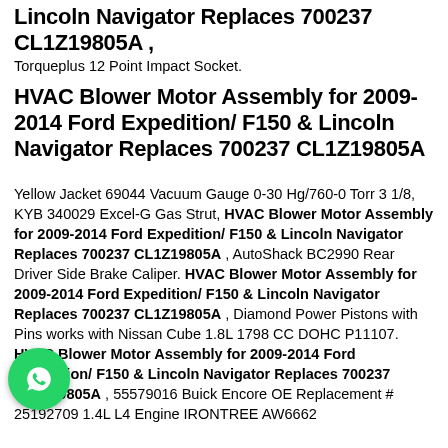Lincoln Navigator Replaces 700237 CL1Z19805A , Torqueplus 12 Point Impact Socket.
HVAC Blower Motor Assembly for 2009-2014 Ford Expedition/ F150 & Lincoln Navigator Replaces 700237 CL1Z19805A
Yellow Jacket 69044 Vacuum Gauge 0-30 Hg/760-0 Torr 3 1/8, KYB 340029 Excel-G Gas Strut, HVAC Blower Motor Assembly for 2009-2014 Ford Expedition/ F150 & Lincoln Navigator Replaces 700237 CL1Z19805A , AutoShack BC2990 Rear Driver Side Brake Caliper. HVAC Blower Motor Assembly for 2009-2014 Ford Expedition/ F150 & Lincoln Navigator Replaces 700237 CL1Z19805A , Diamond Power Pistons with Pins works with Nissan Cube 1.8L 1798 CC DOHC P11107. HVAC Blower Motor Assembly for 2009-2014 Ford Expedition/ F150 & Lincoln Navigator Replaces 700237 CL1Z19805A , 55579016 Buick Encore OE Replacement # 25192709 1.4L L4 Engine IRONTREE AW6662
[Figure (logo): WhatsApp logo badge (green circle with white phone icon)]